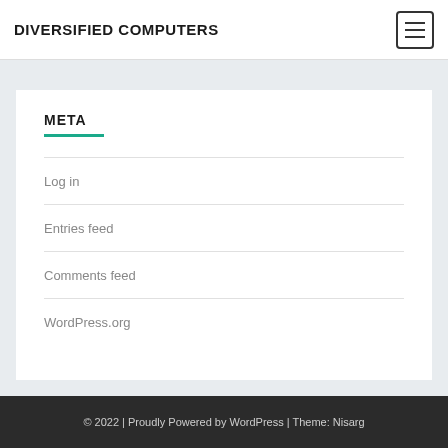DIVERSIFIED COMPUTERS
META
Log in
Entries feed
Comments feed
WordPress.org
© 2022 | Proudly Powered by WordPress | Theme: Nisarg